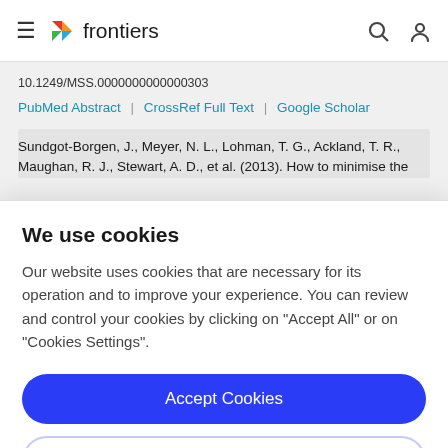frontiers
10.1249/MSS.0000000000000303
PubMed Abstract | CrossRef Full Text | Google Scholar
Sundgot-Borgen, J., Meyer, N. L., Lohman, T. G., Ackland, T. R., Maughan, R. J., Stewart, A. D., et al. (2013). How to minimise the
We use cookies
Our website uses cookies that are necessary for its operation and to improve your experience. You can review and control your cookies by clicking on "Accept All" or on "Cookies Settings".
Accept Cookies
Cookies Settings